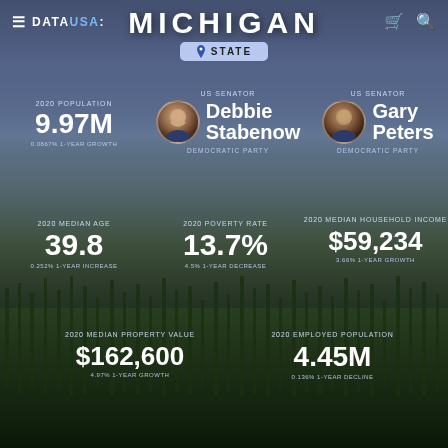DATA USA: | Michigan | STATE
MICHIGAN
STATE
2020 POPULATION
9.97M
0.0867% 1-YEAR GROWTH
US SENATOR
Debbie Stabenow
DEMOCRATIC PARTY
US SENATOR
Gary Peters
DEMOCRATIC PARTY
2020 MEDIAN AGE
39.8
0.252% 1-YEAR INCREASE
2020 POVERTY RATE
13.7%
4.5% 1-YEAR DECREASE
2020 MEDIAN HOUSEHOLD INCOME
$59,234
3.66% 1-YEAR GROWTH
2020 MEDIAN PROPERTY VALUE
$162,600
4.97% 1-YEAR GROWTH
2020 EMPLOYED POPULATION
4.45M
0.136% 1-YEAR DECLINE